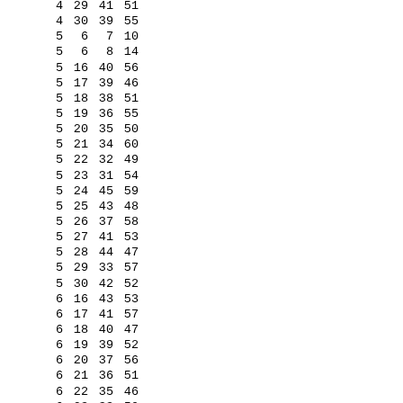| 4 | 29 | 41 | 51 |
| 4 | 30 | 39 | 55 |
| 5 | 6 | 7 | 10 |
| 5 | 6 | 8 | 14 |
| 5 | 16 | 40 | 56 |
| 5 | 17 | 39 | 46 |
| 5 | 18 | 38 | 51 |
| 5 | 19 | 36 | 55 |
| 5 | 20 | 35 | 50 |
| 5 | 21 | 34 | 60 |
| 5 | 22 | 32 | 49 |
| 5 | 23 | 31 | 54 |
| 5 | 24 | 45 | 59 |
| 5 | 25 | 43 | 48 |
| 5 | 26 | 37 | 58 |
| 5 | 27 | 41 | 53 |
| 5 | 28 | 44 | 47 |
| 5 | 29 | 33 | 57 |
| 5 | 30 | 42 | 52 |
| 6 | 16 | 43 | 53 |
| 6 | 17 | 41 | 57 |
| 6 | 18 | 40 | 47 |
| 6 | 19 | 39 | 52 |
| 6 | 20 | 37 | 56 |
| 6 | 21 | 36 | 51 |
| 6 | 22 | 35 | 46 |
| 6 | 23 | 33 | 50 |
| 6 | 24 | 32 | 55 |
| 6 | 25 | 31 | 60 |
| 6 | 26 | 44 | 49 |
| 6 | 27 | 38 | 58 |